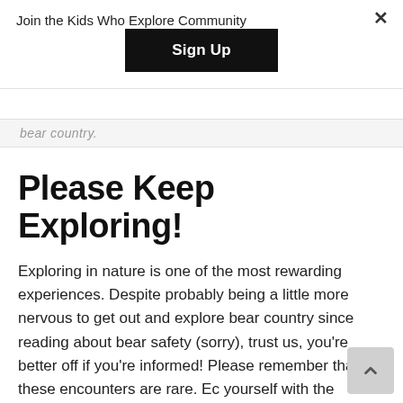Join the Kids Who Explore Community
[Figure (screenshot): Black 'Sign Up' button centered in modal overlay]
bear country.
Please Keep Exploring!
Exploring in nature is one of the most rewarding experiences. Despite probably being a little more nervous to get out and explore bear country since reading about bear safety (sorry), trust us, you're better off if you're informed! Please remember that these encounters are rare. Educate yourself with the knowledge and gear you need